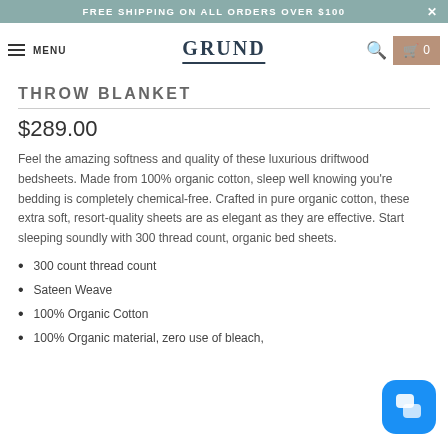FREE SHIPPING ON ALL ORDERS OVER $100
MENU  GRUND  0
THROW BLANKET
$289.00
Feel the amazing softness and quality of these luxurious driftwood bedsheets. Made from 100% organic cotton, sleep well knowing you're bedding is completely chemical-free. Crafted in pure organic cotton, these extra soft, resort-quality sheets are as elegant as they are effective. Start sleeping soundly with 300 thread count, organic bed sheets.
300 count thread count
Sateen Weave
100% Organic Cotton
100% Organic material, zero use of bleach,